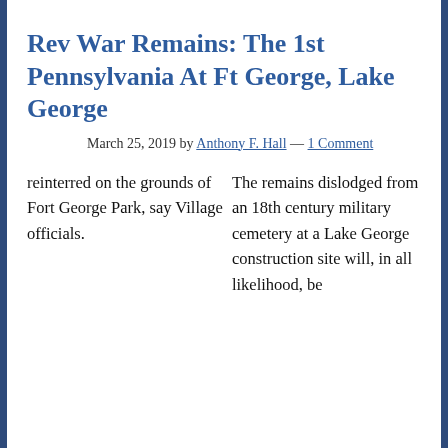Rev War Remains: The 1st Pennsylvania At Ft George, Lake George
March 25, 2019 by Anthony F. Hall — 1 Comment
The remains dislodged from an 18th century military cemetery at a Lake George construction site will, in all likelihood, be reinterred on the grounds of Fort George Park, say Village officials.